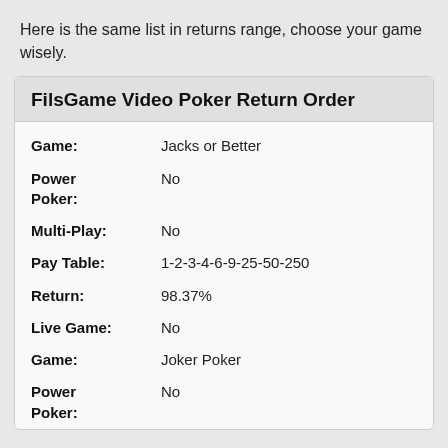Here is the same list in returns range, choose your game wisely.
FilsGame Video Poker Return Order
| Field | Value |
| --- | --- |
| Game: | Jacks or Better |
| Power Poker: | No |
| Multi-Play: | No |
| Pay Table: | 1-2-3-4-6-9-25-50-250 |
| Return: | 98.37% |
| Live Game: | No |
| Game: | Joker Poker |
| Power Poker: | No |